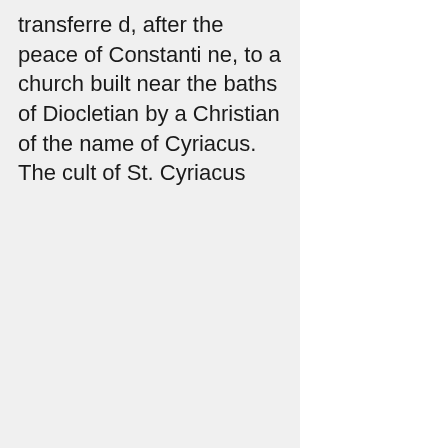transferred, after the peace of Constantine, to a church built near the baths of Diocletian by a Christian of the name of Cyriacus. The cult of St. Cyriacus